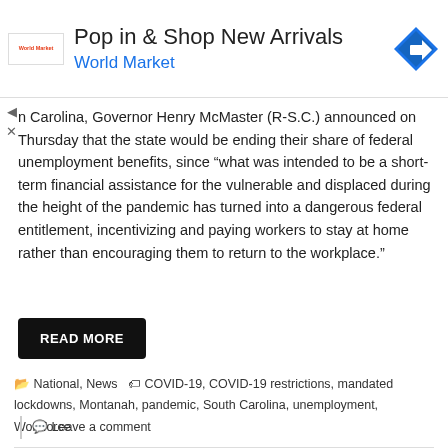[Figure (infographic): Advertisement banner for World Market: 'Pop in & Shop New Arrivals' with World Market logo in red text and a blue navigation arrow icon]
n Carolina, Governor Henry McMaster (R-S.C.) announced on Thursday that the state would be ending their share of federal unemployment benefits, since "what was intended to be a short-term financial assistance for the vulnerable and displaced during the height of the pandemic has turned into a dangerous federal entitlement, incentivizing and paying workers to stay at home rather than encouraging them to return to the workplace."
READ MORE
National, News   COVID-19, COVID-19 restrictions, mandated lockdowns, Montanah, pandemic, South Carolina, unemployment, Workforce
Leave a comment